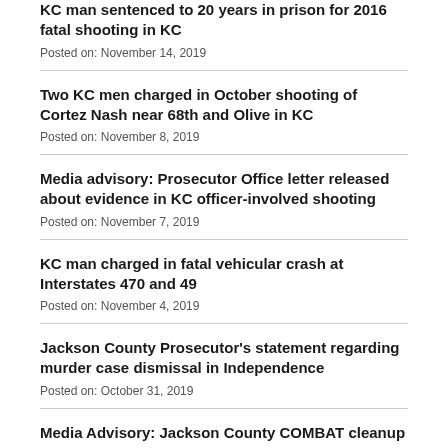KC man sentenced to 20 years in prison for 2016 fatal shooting in KC
Posted on: November 14, 2019
Two KC men charged in October shooting of Cortez Nash near 68th and Olive in KC
Posted on: November 8, 2019
Media advisory: Prosecutor Office letter released about evidence in KC officer-involved shooting
Posted on: November 7, 2019
KC man charged in fatal vehicular crash at Interstates 470 and 49
Posted on: November 4, 2019
Jackson County Prosecutor's statement regarding murder case dismissal in Independence
Posted on: October 31, 2019
Media Advisory: Jackson County COMBAT cleanup